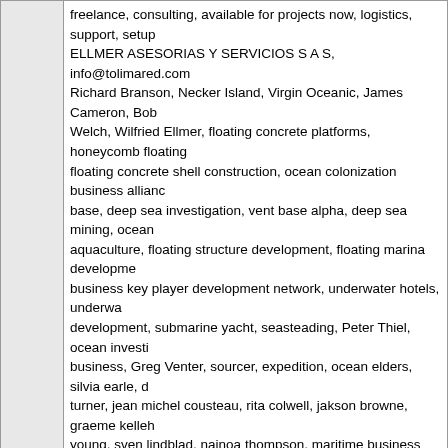freelance, consulting, available for projects now, logistics, support, setup ELLMER ASESORIAS Y SERVICIOS S A S, info@tolimared.com Richard Branson, Necker Island, Virgin Oceanic, James Cameron, Bob Welch, Wilfried Ellmer, floating concrete platforms, honeycomb floating floating concrete shell construction, ocean colonization business alliance base, deep sea investigation, vent base alpha, deep sea mining, ocean aquaculture, floating structure development, floating marina development business key player development network, underwater hotels, underwater development, submarine yacht, seasteading, Peter Thiel, ocean investigation business, Greg Venter, sourcer, expedition, ocean elders, silvia earle, turner, jean michel cousteau, rita colwell, jakson browne, graeme kelleh young, sven lindblad, nainoa thompson, maritime business alliance, blue technology development, marine technology cluster, oceans, seas, harbors seaports, coastal, economy, ocean economy, maritime technology, caribbean maritime alliance, oil platforms, floating harbors, floating real estate, sea
admin
Guru

Status: Offline
Posts: 11012
Date: May 23, 2013
Permalink
Reply
Quote
- Mo
[Figure (photo): Broken image placeholder icon in a light gray box]